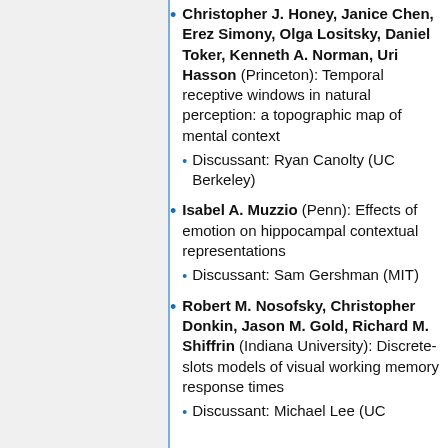Christopher J. Honey, Janice Chen, Erez Simony, Olga Lositsky, Daniel Toker, Kenneth A. Norman, Uri Hasson (Princeton): Temporal receptive windows in natural perception: a topographic map of mental context
Discussant: Ryan Canolty (UC Berkeley)
Isabel A. Muzzio (Penn): Effects of emotion on hippocampal contextual representations
Discussant: Sam Gershman (MIT)
Robert M. Nosofsky, Christopher Donkin, Jason M. Gold, Richard M. Shiffrin (Indiana University): Discrete-slots models of visual working memory response times
Discussant: Michael Lee (UC...